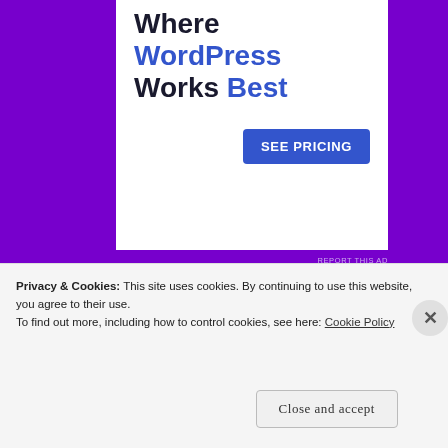[Figure (other): WordPress advertisement banner: 'Where WordPress Works Best' with 'SEE PRICING' button]
REPORT THIS AD
SHARE THIS:
Twitter  Facebook  Pinterest  LinkedIn
Privacy & Cookies: This site uses cookies. By continuing to use this website, you agree to their use.
To find out more, including how to control cookies, see here: Cookie Policy
Close and accept
same page is easy. And free.
REPORT THIS AD